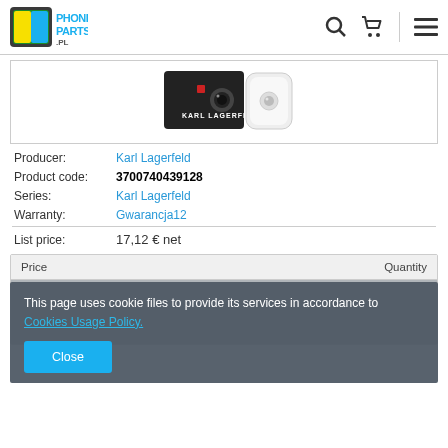PhoneParts.pl — navigation header with logo, search, cart, and menu icons
[Figure (photo): Product photo showing Karl Lagerfeld branded camera/case in black and white]
Producer: Karl Lagerfeld
Product code: 3700740439128
Series: Karl Lagerfeld
Warranty: Gwarancja12
List price: 17,12 € net
| Price | Quantity |
| --- | --- |
This page uses cookie files to provide its services in accordance to Cookies Usage Policy.